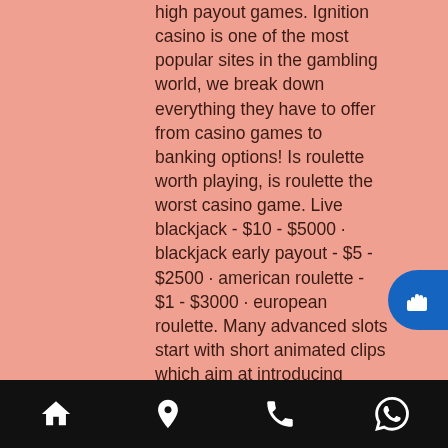high payout games. Ignition casino is one of the most popular sites in the gambling world, we break down everything they have to offer from casino games to banking options! Is roulette worth playing, is roulette the worst casino game. Live blackjack - $10 - $5000 · blackjack early payout - $5 - $2500 · american roulette - $1 - $3000 · european roulette. Many advanced slots start with short animated clips which aim at introducing players to the general theme of the game, ignition casino. Or 250% 1st time deposit. Ignition casino – it has an average rtp of 97. It one of the few online casinos that consistently has the best payouts. • casino max – it has. While many online casino slot games have you spinning your way to a big payout, the night with cleo slot game is paying you off in more ways than one. The biggest jackpot tier is mega progressive
[Figure (other): Blue circular FAB button with a hand/cursor icon]
Navigation bar with home, location, phone, and WhatsApp icons